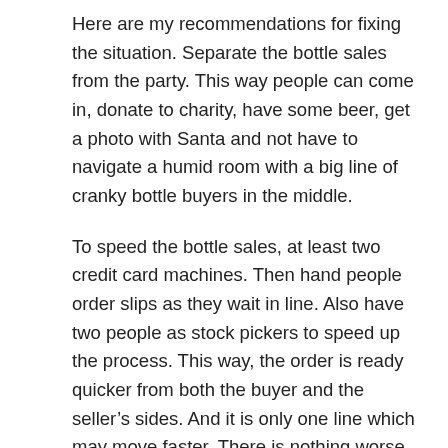Here are my recommendations for fixing the situation. Separate the bottle sales from the party. This way people can come in, donate to charity, have some beer, get a photo with Santa and not have to navigate a humid room with a big line of cranky bottle buyers in the middle.
To speed the bottle sales, at least two credit card machines. Then hand people order slips as they wait in line. Also have two people as stock pickers to speed up the process. This way, the order is ready quicker from both the buyer and the seller's sides. And it is only one line which may move faster. There is nothing worse than a line that inches forward then finding out you have to be in another line that inches forward.
The mantra should be to prepare for a big crowd and then scale down if needed. Because it is just too hard to scale up.